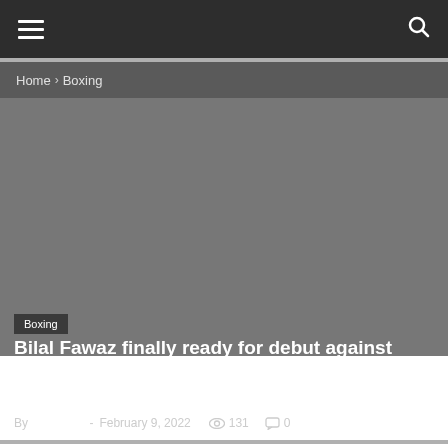≡  🔍
Home › Boxing
[Figure (photo): Dark grey hero image background for boxing article]
Boxing
Bilal Fawaz finally ready for debut against Vladimir Fleischhauer after incredible life battle
By Sports24 - February 9, 2022  👁 131  💬 0